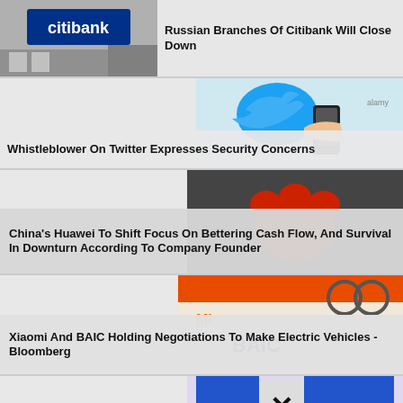[Figure (photo): Citibank storefront/signage photo]
Russian Branches Of Citibank Will Close Down
[Figure (photo): Twitter bird logo and person holding smartphone]
Whistleblower On Twitter Expresses Security Concerns
[Figure (photo): Red paw print graphic on dark background]
China's Huawei To Shift Focus On Bettering Cash Flow, And Survival In Downturn According To Company Founder
[Figure (photo): BAIC branding with orange and scissors graphic]
Xiaomi And BAIC Holding Negotiations To Make Electric Vehicles - Bloomberg
[Figure (photo): SpaceX and T-Mobile logos/branding]
Using Satellites, SpaceX And T-Mobile Hope To End "Dead Zones"